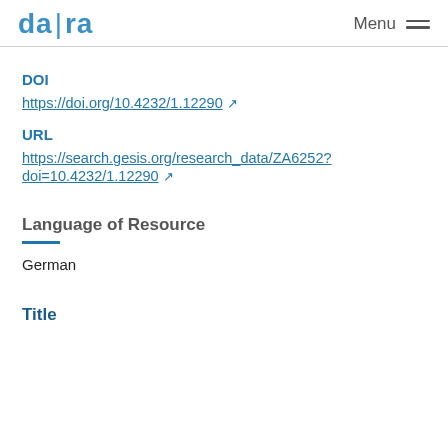da|ra  Menu
DOI
https://doi.org/10.4232/1.12290
URL
https://search.gesis.org/research_data/ZA6252?doi=10.4232/1.12290
Language of Resource
German
Title